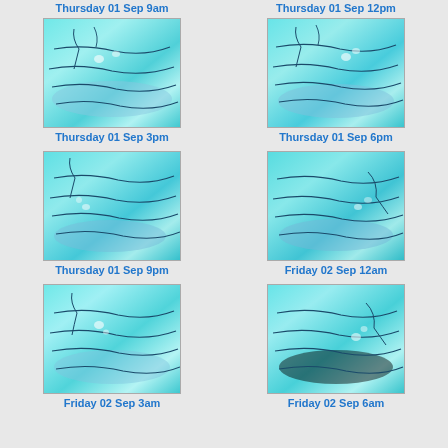Thursday 01 Sep 9am
Thursday 01 Sep 12pm
[Figure (map): Weather/oceanographic map showing sea surface temperature or wave height contours for Thursday 01 Sep 3pm, with cyan/teal coloring and dark contour lines]
Thursday 01 Sep 3pm
[Figure (map): Weather/oceanographic map showing sea surface temperature or wave height contours for Thursday 01 Sep 6pm, with cyan/teal coloring and dark contour lines]
Thursday 01 Sep 6pm
[Figure (map): Weather/oceanographic map showing sea surface temperature or wave height contours for Thursday 01 Sep 9pm, with cyan/teal coloring and dark contour lines]
Thursday 01 Sep 9pm
[Figure (map): Weather/oceanographic map showing sea surface temperature or wave height contours for Friday 02 Sep 12am, with cyan/teal coloring and dark contour lines]
Friday 02 Sep 12am
[Figure (map): Weather/oceanographic map showing sea surface temperature or wave height contours for Friday 02 Sep 3am, with cyan/teal coloring and dark contour lines]
Friday 02 Sep 3am
[Figure (map): Weather/oceanographic map showing sea surface temperature or wave height contours for Friday 02 Sep 6am, with cyan/teal coloring and dark contour lines]
Friday 02 Sep 6am